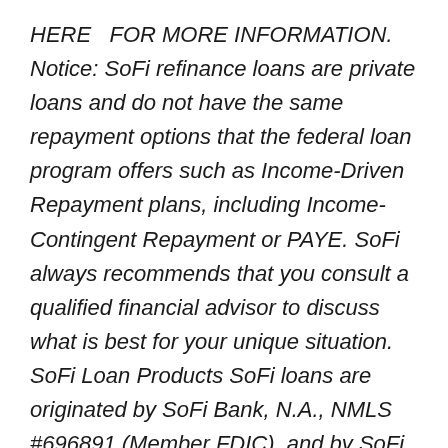HERE  FOR MORE INFORMATION. Notice: SoFi refinance loans are private loans and do not have the same repayment options that the federal loan program offers such as Income-Driven Repayment plans, including Income-Contingent Repayment or PAYE. SoFi always recommends that you consult a qualified financial advisor to discuss what is best for your unique situation. SoFi Loan Products SoFi loans are originated by SoFi Bank, N.A., NMLS #696891 (Member FDIC), and by SoFi Lending Corp. NMLS #1121636 , a lender licensed by the Department of Financial Protection and Innovation under the California Financing Law (License # 6054612) and by other states. For additional